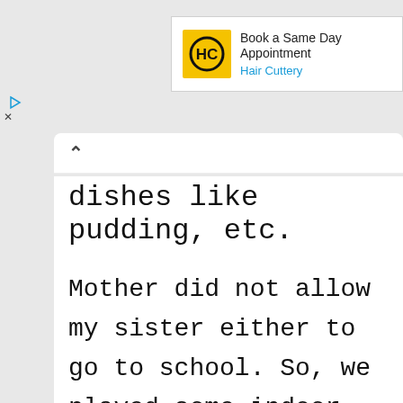[Figure (logo): Hair Cuttery advertisement banner with yellow logo showing HC letters, text 'Book a Same Day Appointment' and 'Hair Cuttery' in blue]
dishes like pudding, etc.
Mother did not allow my sister either to go to school. So, we played some indoor games like carom-board and cards at